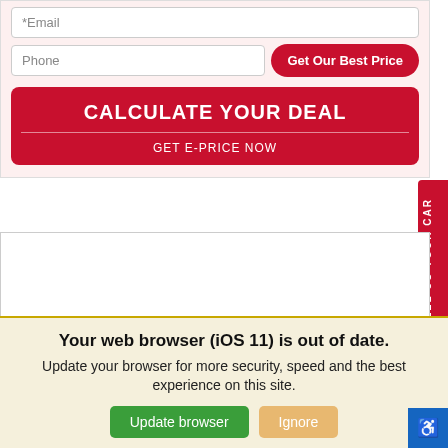*Email
Phone
Get Our Best Price
CALCULATE YOUR DEAL
GET E-PRICE NOW
SELL US YOUR CAR
Your web browser (iOS 11) is out of date.
Update your browser for more security, speed and the best experience on this site.
Update browser
Ignore